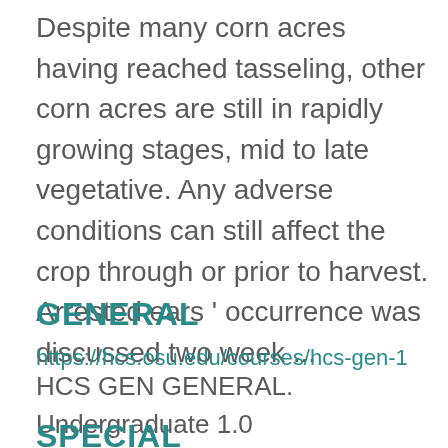Despite many corn acres having reached tasseling, other corn acres are still in rapidly growing stages, mid to late vegetative. Any adverse conditions can still affect the crop through or prior to harvest. Arrested ears ' occurrence was discussed two week ...
GENERAL
https://hcs.osu.edu/courses/hcs-gen-1
HCS GEN GENERAL. Undergraduate 1.0 Horticulture and Crop Science ...
SPECIAL
https://hcs.osu.edu/courses/hcs-spe-1